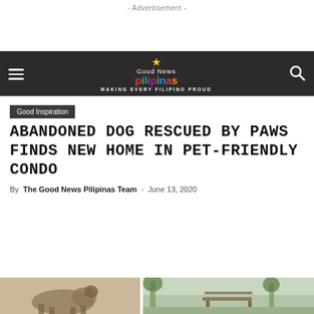- Advertisement -
[Figure (screenshot): Good News Pilipinas website navigation bar with hamburger menu, logo (Good News Pilipinas with sun icon), tagline MAKING EVERY FILIPINO PROUD, and search icon]
Good Inspiration
ABANDONED DOG RESCUED BY PAWS FINDS NEW HOME IN PET-FRIENDLY CONDO
By The Good News Pilipinas Team - June 13, 2020
[Figure (photo): Partial image of a dog on the left and an outdoor scene with a bench or park on the right]